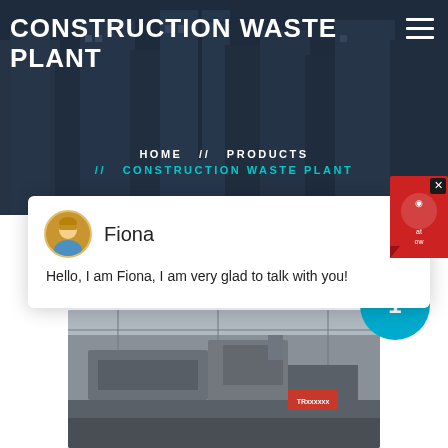[Figure (screenshot): Hero banner showing construction site buildings in dark blue-grey overlay]
CONSTRUCTION WASTE PLANT
HOME // PRODUCTS // CONSTRUCTION WASTE PLANT
[Figure (screenshot): Chat widget popup with avatar of Fiona and message: Hello, I am Fiona, I am very glad to talk with you!]
[Figure (photo): Industrial construction waste plant machinery inside a facility]
1